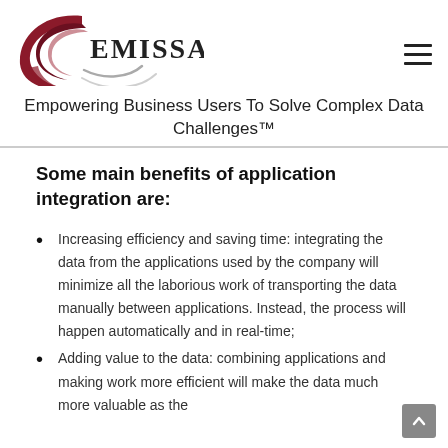[Figure (logo): Emissary logo: dark red crescent/C shape with curved lines and the word EMISSARY in serif capitals]
Empowering Business Users To Solve Complex Data Challenges™
Some main benefits of application integration are:
Increasing efficiency and saving time: integrating the data from the applications used by the company will minimize all the laborious work of transporting the data manually between applications. Instead, the process will happen automatically and in real-time;
Adding value to the data: combining applications and making work more efficient will make the data much more valuable as the